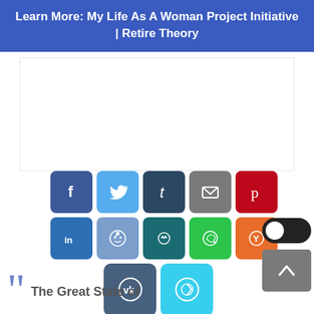Learn More: My Life As A Woman Project Initiative | Retire Theory
[Figure (screenshot): Social media share buttons grid: row 1 - Facebook (dark blue), Twitter (light blue), Tumblr (dark navy), Email (gray), Pinterest (red); row 2 - LinkedIn (blue), Reddit (light blue-gray), Mix (dark teal), WhatsApp (green), Yummly (orange); row 3 - VK (slate blue), Telegram (cyan). Also dark/light mode toggle and scroll-to-top button.]
The Great State of